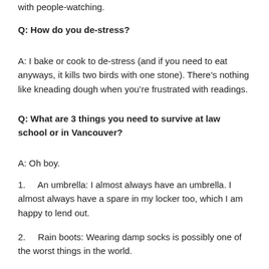with people-watching.
Q: How do you de-stress?
A: I bake or cook to de-stress (and if you need to eat anyways, it kills two birds with one stone). There's nothing like kneading dough when you're frustrated with readings.
Q: What are 3 things you need to survive at law school or in Vancouver?
A: Oh boy.
1.    An umbrella: I almost always have an umbrella. I almost always have a spare in my locker too, which I am happy to lend out.
2.    Rain boots: Wearing damp socks is possibly one of the worst things in the world.